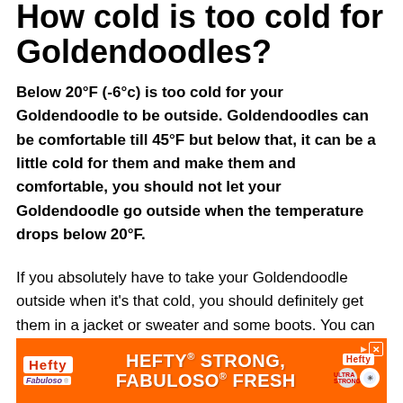How cold is too cold for Goldendoodles?
Below 20°F (-6°c) is too cold for your Goldendoodle to be outside. Goldendoodles can be comfortable till 45°F but below that, it can be a little cold for them and make them and comfortable, you should not let your Goldendoodle go outside when the temperature drops below 20°F.
If you absolutely have to take your Goldendoodle outside when it's that cold, you should definitely get them in a jacket or sweater and some boots. You can check out this guide to when your golden needs a sweater or jacket in the winter for tips on how to choose and some
[Figure (other): Advertisement banner: Hefty STRONG, FABULOSO FRESH orange ad with Hefty and Fabuloso logos]